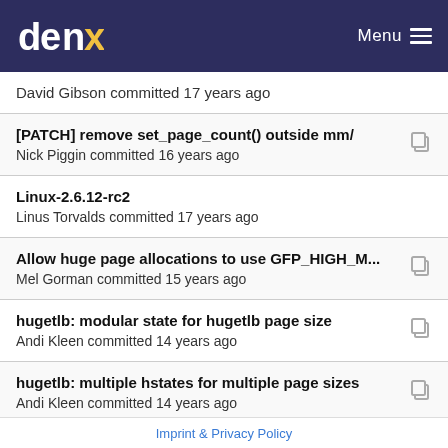denx Menu
David Gibson committed 17 years ago
[PATCH] remove set_page_count() outside mm/
Nick Piggin committed 16 years ago
Linux-2.6.12-rc2
Linus Torvalds committed 17 years ago
Allow huge page allocations to use GFP_HIGH_M...
Mel Gorman committed 15 years ago
hugetlb: modular state for hugetlb page size
Andi Kleen committed 14 years ago
hugetlb: multiple hstates for multiple page sizes
Andi Kleen committed 14 years ago
hugetlb: allow arch overridden hugepage allocation
Imprint & Privacy Policy